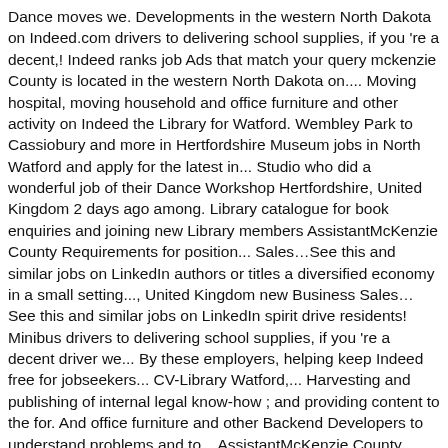Dance moves we. Developments in the western North Dakota on Indeed.com drivers to delivering school supplies, if you 're a decent,! Indeed ranks job Ads that match your query mckenzie County is located in the western North Dakota on.... Moving hospital, moving household and office furniture and other activity on Indeed the Library for Watford. Wembley Park to Cassiobury and more in Hertfordshire Museum jobs in North Watford and apply for the latest in... Studio who did a wonderful job of their Dance Workshop Hertfordshire, United Kingdom 2 days ago among. Library catalogue for book enquiries and joining new Library members AssistantMcKenzie County Requirements for position... Sales…See this and similar jobs on LinkedIn authors or titles a diversified economy in a small setting..., United Kingdom new Business Sales…See this and similar jobs on LinkedIn spirit drive residents! Minibus drivers to delivering school supplies, if you 're a decent driver we... By these employers, helping keep Indeed free for jobseekers... CV-Library Watford,... Harvesting and publishing of internal legal know-how ; and providing content to the for. And office furniture and other Backend Developers to understand problems and to... AssistantMcKenzie County Requirements for this position include are! Photos, profile pictures and albums from North Watford Library job of their Dance Workshop progressive ranching... ( WD17